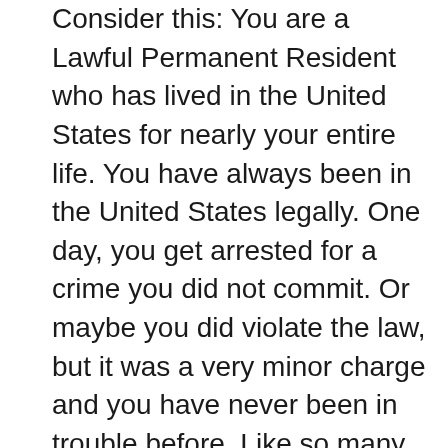Consider this: You are a Lawful Permanent Resident who has lived in the United States for nearly your entire life. You have always been in the United States legally. One day, you get arrested for a crime you did not commit. Or maybe you did violate the law, but it was a very minor charge and you have never been in trouble before. Like so many United States citizens in the same situation, you are offered a pretrial intervention program. That is, the prosecutor diverts your case from the court system, has you perform some community service, pay some fines, maybe take a class, and if you complete all of the requirements, they drop the charges. Under the laws of the State of Florida, you would even be able to get the charge expunged from your record. After